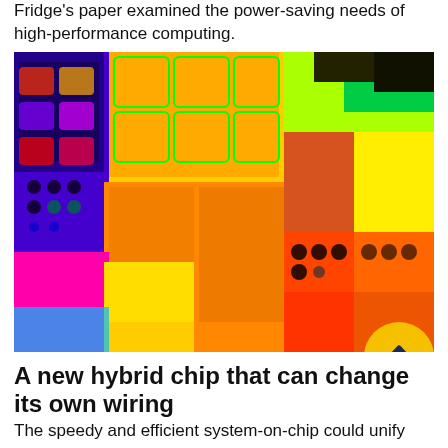Fridge's paper examined the power-saving needs of high-performance computing.
[Figure (photo): False-color microscope image of a computer chip showing colorful blocks and circuit components in yellow, orange, magenta, blue, green, and black patterns representing different chip regions and components.]
A new hybrid chip that can change its own wiring
The speedy and efficient system-on-chip could unify